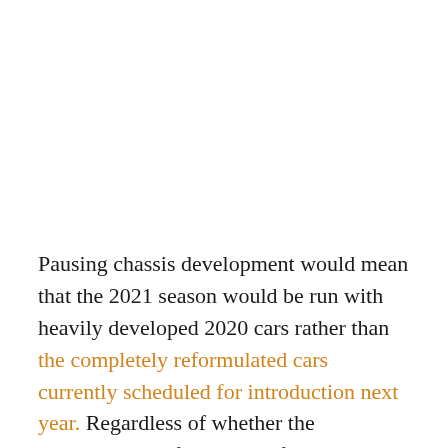Pausing chassis development would mean that the 2021 season would be run with heavily developed 2020 cars rather than the completely reformulated cars currently scheduled for introduction next year. Regardless of whether the developmental freeze goes forward, 2020 cars may still campaign in the 2021 calendar year; AMuS reports that postponed Grands Prix could be run through the winter and into January